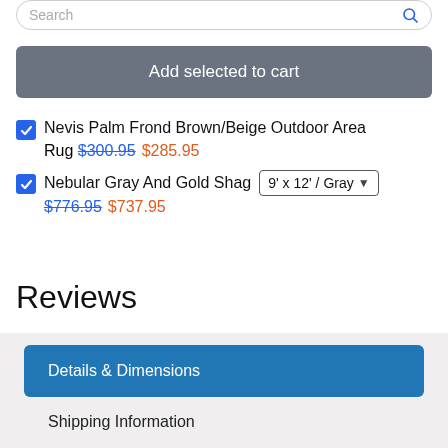Search
Add selected to cart
Nevis Palm Frond Brown/Beige Outdoor Area Rug $300.95 $285.95
Nebular Gray And Gold Shag 9' x 12' / Gray $776.95 $737.95
Reviews
Details & Dimensions
Shipping Information
Returns & Exchanges